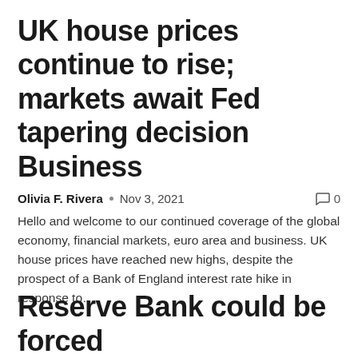UK house prices continue to rise; markets await Fed tapering decision Business
Olivia F. Rivera  •  Nov 3, 2021   💬 0
Hello and welcome to our continued coverage of the global economy, financial markets, euro area and business. UK house prices have reached new highs, despite the prospect of a Bank of England interest rate hike in response to…
Reserve Bank could be forced